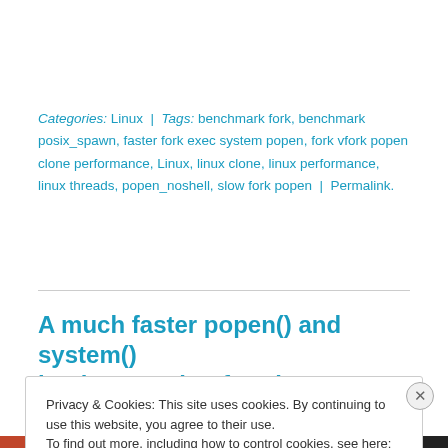Categories: Linux | Tags: benchmark fork, benchmark posix_spawn, faster fork exec system popen, fork vfork popen clone performance, Linux, linux clone, linux performance, linux threads, popen_noshell, slow fork popen | Permalink.
A much faster popen() and system() implementation for Linux
Privacy & Cookies: This site uses cookies. By continuing to use this website, you agree to their use.
To find out more, including how to control cookies, see here: Cookie Policy